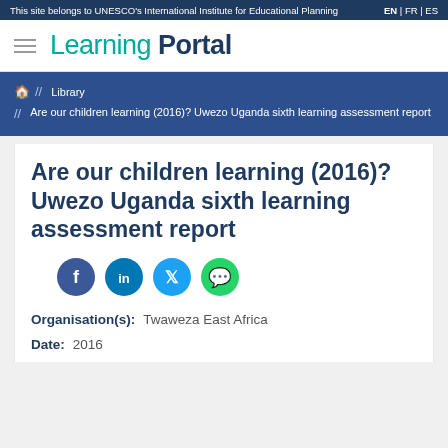This site belongs to UNESCO's International Institute for Educational Planning | EN | FR | ES
Learning Portal
// Library // Are our children learning (2016)? Uwezo Uganda sixth learning assessment report
Are our children learning (2016)? Uwezo Uganda sixth learning assessment report
[Figure (other): Social sharing icons: Facebook, LinkedIn, Twitter, WhatsApp]
Organisation(s): Twaweza East Africa
Date: 2016